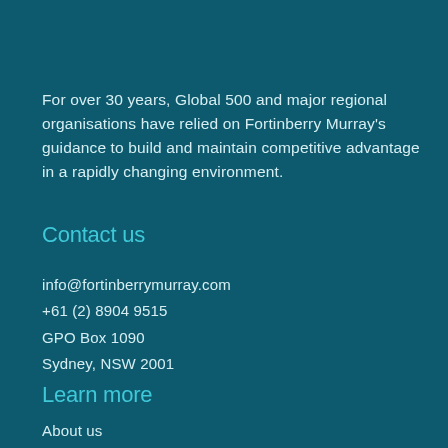For over 30 years, Global 500 and major regional organisations have relied on Fortinberry Murray's guidance to build and maintain competitive advantage in a rapidly changing environment.
Contact us
info@fortinberrymurray.com
+61 (2) 8904 9515
GPO Box 1090
Sydney, NSW 2001
Learn more
About us